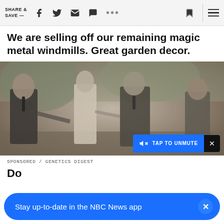SHARE & SAVE —
We are selling off our remaining magic metal windmills. Great garden decor.
[Figure (photo): Black and white vintage photograph of people running, including a woman in athletic wear and men in suits, appearing to be from mid-20th century.]
SPONSORED / GENETICS DIGEST
Do
Stay up-to-date in the NBC News app